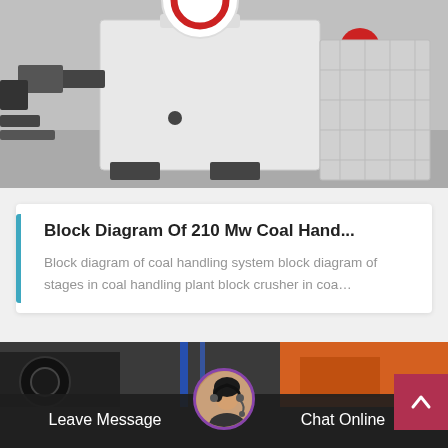[Figure (photo): Industrial crusher/impact mill machine in gray color, with red accent circle visible on right side, photographed outdoors on a concrete surface.]
Block Diagram Of 210 Mw Coal Hand...
Block diagram of coal handling system block diagram of stages in coal handling plant block crusher in coa…
[Figure (photo): Bottom banner showing industrial machinery in background (orange and dark), with a customer service representative avatar in center circle, and navigation buttons 'Leave Message' and 'Chat Online'.]